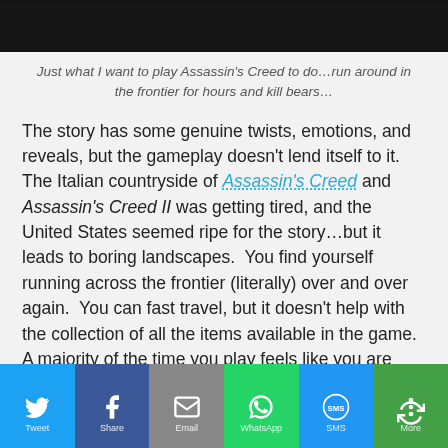[Figure (photo): Dark screenshot from Assassin's Creed game at top of page]
Just what I want to play Assassin's Creed to do…run around in the frontier for hours and kill bears…
The story has some genuine twists, emotions, and reveals, but the gameplay doesn't lend itself to it.  The Italian countryside of Assassin's Creed and Assassin's Creed II was getting tired, and the United States seemed ripe for the story…but it leads to boring landscapes.  You find yourself running across the frontier (literally) over and over again.  You can fast travel, but it doesn't help with the collection of all the items available in the game.  A majority of the time you play feels like you are running location to location, and the story feels incidental.
[Figure (screenshot): Social sharing bar with Twitter, Facebook, Email, WhatsApp, SMS, and More buttons]